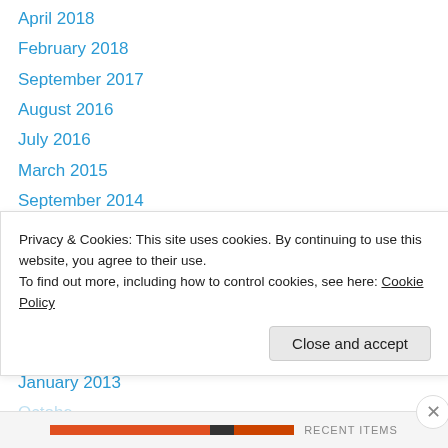April 2018
February 2018
September 2017
August 2016
July 2016
March 2015
September 2014
August 2014
October 2013
August 2013
June 2013
May 2013
January 2013
Privacy & Cookies: This site uses cookies. By continuing to use this website, you agree to their use.
To find out more, including how to control cookies, see here: Cookie Policy
Close and accept